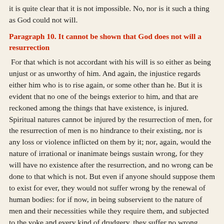it is quite clear that it is not impossible. No, nor is it such a thing as God could not will.
Paragraph 10. It cannot be shown that God does not will a resurrection
For that which is not accordant with his will is so either as being unjust or as unworthy of him. And again, the injustice regards either him who is to rise again, or some other than he. But it is evident that no one of the beings exterior to him, and that are reckoned among the things that have existence, is injured. Spiritual natures cannot be injured by the resurrection of men, for the resurrection of men is no hindrance to their existing, nor is any loss or violence inflicted on them by it; nor, again, would the nature of irrational or inanimate beings sustain wrong, for they will have no existence after the resurrection, and no wrong can be done to that which is not. But even if anyone should suppose them to exist for ever, they would not suffer wrong by the renewal of human bodies: for if now, in being subservient to the nature of men and their necessities while they require them, and subjected to the yoke and every kind of drudgery, they suffer no wrong, much more, when men have become immortal and free from want, and no longer need their service, and when they are themselves liberated from bondage, will they suffer no wrong. For if they had the gift of speech, they would not bring against